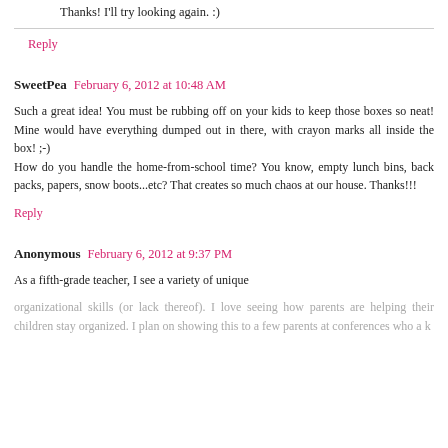Thanks! I'll try looking again. :)
Reply
SweetPea  February 6, 2012 at 10:48 AM
Such a great idea! You must be rubbing off on your kids to keep those boxes so neat! Mine would have everything dumped out in there, with crayon marks all inside the box! ;-)
How do you handle the home-from-school time? You know, empty lunch bins, back packs, papers, snow boots...etc? That creates so much chaos at our house. Thanks!!!
Reply
Anonymous  February 6, 2012 at 9:37 PM
As a fifth-grade teacher, I see a variety of unique organizational skills (or lack thereof). I love seeing how parents are helping their children stay organized. I plan on showing this to a few parents at conferences who a k